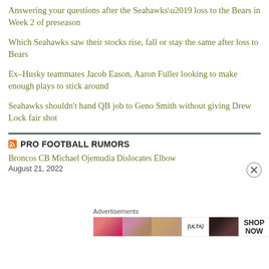Answering your questions after the Seahawks’ loss to the Bears in Week 2 of preseason
Which Seahawks saw their stocks rise, fall or stay the same after loss to Bears
Ex-Husky teammates Jacob Eason, Aaron Fuller looking to make enough plays to stick around
Seahawks shouldn’t hand QB job to Geno Smith without giving Drew Lock fair shot
PRO FOOTBALL RUMORS
Broncos CB Michael Ojemudia Dislocates Elbow
August 21, 2022
Advertisements